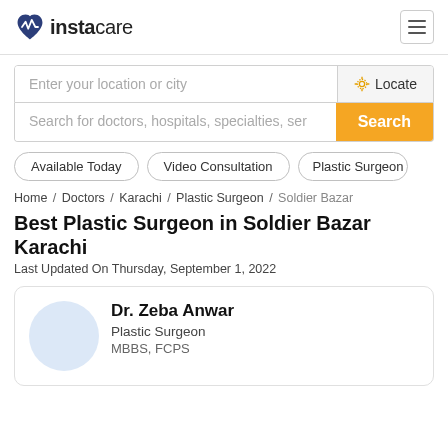[Figure (logo): Instacare logo with heart/pulse icon]
Enter your location or city
Search for doctors, hospitals, specialties, ser
Available Today
Video Consultation
Plastic Surgeon
Home / Doctors / Karachi / Plastic Surgeon / Soldier Bazar
Best Plastic Surgeon in Soldier Bazar Karachi
Last Updated On Thursday, September 1, 2022
Dr. Zeba Anwar
Plastic Surgeon
MBBS, FCPS